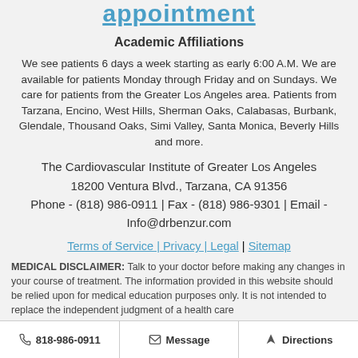appointment
Academic Affiliations
We see patients 6 days a week starting as early 6:00 A.M. We are available for patients Monday through Friday and on Sundays. We care for patients from the Greater Los Angeles area. Patients from Tarzana, Encino, West Hills, Sherman Oaks, Calabasas, Burbank, Glendale, Thousand Oaks, Simi Valley, Santa Monica, Beverly Hills and more.
The Cardiovascular Institute of Greater Los Angeles
18200 Ventura Blvd., Tarzana, CA 91356
Phone - (818) 986-0911 | Fax - (818) 986-9301 | Email - Info@drbenzur.com
Terms of Service | Privacy | Legal | Sitemap
MEDICAL DISCLAIMER: Talk to your doctor before making any changes in your course of treatment. The information provided in this website should be relied upon for medical education purposes only. It is not intended to replace the independent judgment of a health care
818-986-0911 | Message | Directions